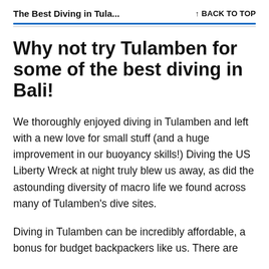The Best Diving in Tula...    ↑ BACK TO TOP
Why not try Tulamben for some of the best diving in Bali!
We thoroughly enjoyed diving in Tulamben and left with a new love for small stuff (and a huge improvement in our buoyancy skills!) Diving the US Liberty Wreck at night truly blew us away, as did the astounding diversity of macro life we found across many of Tulamben's dive sites.
Diving in Tulamben can be incredibly affordable, a bonus for budget backpackers like us. There are